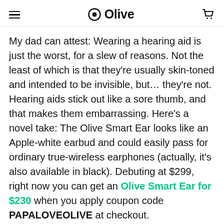Olive
My dad can attest: Wearing a hearing aid is just the worst, for a slew of reasons. Not the least of which is that they're usually skin-toned and intended to be invisible, but… they're not. Hearing aids stick out like a sore thumb, and that makes them embarrassing. Here's a novel take: The Olive Smart Ear looks like an Apple-white earbud and could easily pass for ordinary true-wireless earphones (actually, it's also available in black). Debuting at $299, right now you can get an Olive Smart Ear for $230 when you apply coupon code PAPALOVEOLIVE at checkout.
The Smart Ear is a single earbud that offers